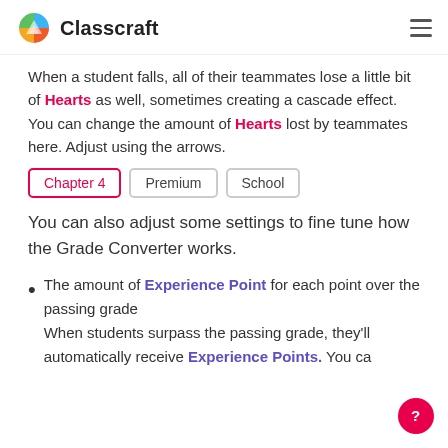Classcraft
When a student falls, all of their teammates lose a little bit of Hearts as well, sometimes creating a cascade effect. You can change the amount of Hearts lost by teammates here. Adjust using the arrows.
Chapter 4
Premium
School
You can also adjust some settings to fine tune how the Grade Converter works.
The amount of Experience Point for each point over the passing grade
When students surpass the passing grade, they'll automatically receive Experience Points. You ca